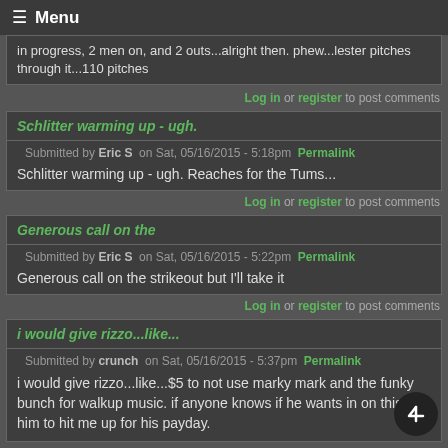≡ Menu
in progress, 2 men on, and 2 outs...alright then. phew...lester pitches through it...110 pitches
Log in or register to post comments
Schlitter warming up - ugh.
Submitted by Eric S on Sat, 05/16/2015 - 5:18pm Permalink
Schlitter warming up - ugh. Reaches for the Tums...
Log in or register to post comments
Generous call on the
Submitted by Eric S on Sat, 05/16/2015 - 5:22pm Permalink
Generous call on the strikeout but I'll take it
Log in or register to post comments
i would give rizzo...like...
Submitted by crunch on Sat, 05/16/2015 - 5:37pm Permalink
i would give rizzo...like...$5 to not use marky mark and the funky bunch for walkup music. if anyone knows if he wants in on this, tell him to hit me up for his payday.